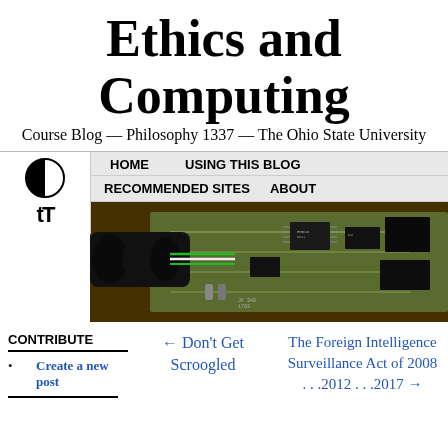Ethics and Computing
Course Blog — Philosophy 1337 — The Ohio State University
HOME   USING THIS BLOG   RECOMMENDED SITES   ABOUT
[Figure (photo): Close-up photo of a circuit board with electronic components and cables]
CONTRIBUTE
Create a new post
← Don't Get Scroogled
The Foreign Intelligence Surveillance Act of 2008 . . .2012 . . .2017 →